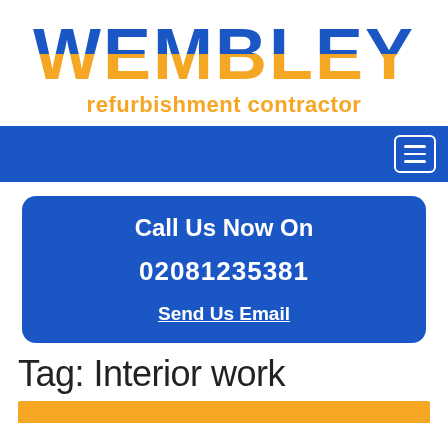[Figure (logo): Wembley refurbishment contractor logo with blue and orange gradient text for WEMBLEY and orange subtitle]
[Figure (other): Blue navigation bar with hamburger menu icon in top right]
Call Us Now On
02081235381
Send Us Email
Tag: Interior work